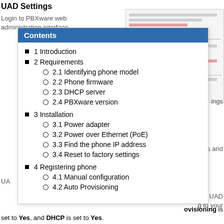UAD Settings
Login to PBXware web administration interface
[Figure (screenshot): Screenshot of PBXware web administration interface showing form fields with red highlighted input boxes]
Contents
1 Introduction
2 Requirements
2.1 Identifying phone model
2.2 Phone firmware
2.3 DHCP server
2.4 PBXware version
3 Installation
3.1 Power adapter
3.2 Power over Ethernet (PoE)
3.3 Find the phone IP address
3.4 Reset to factory settings
4 Registering phone
4.1 Manual configuration
4.2 Auto Provisioning
set to Yes, and DHCP is set to Yes.